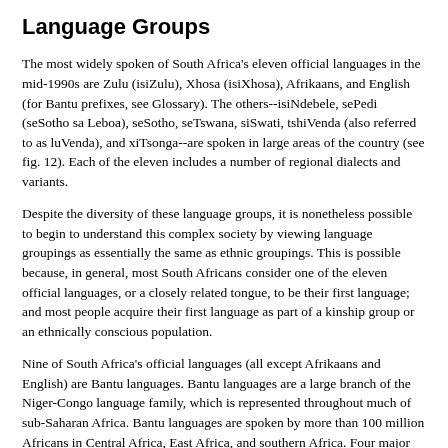Language Groups
The most widely spoken of South Africa's eleven official languages in the mid-1990s are Zulu (isiZulu), Xhosa (isiXhosa), Afrikaans, and English (for Bantu prefixes, see Glossary). The others--isiNdebele, sePedi (seSotho sa Leboa), seSotho, seTswana, siSwati, tshiVenda (also referred to as luVenda), and xiTsonga--are spoken in large areas of the country (see fig. 12). Each of the eleven includes a number of regional dialects and variants.
Despite the diversity of these language groups, it is nonetheless possible to begin to understand this complex society by viewing language groupings as essentially the same as ethnic groupings. This is possible because, in general, most South Africans consider one of the eleven official languages, or a closely related tongue, to be their first language; and most people acquire their first language as part of a kinship group or an ethnically conscious population.
Nine of South Africa's official languages (all except Afrikaans and English) are Bantu languages. Bantu languages are a large branch of the Niger-Congo language family, which is represented throughout much of sub-Saharan Africa. Bantu languages are spoken by more than 100 million Africans in Central Africa, East Africa, and southern Africa. Four major subgroups of Bantu